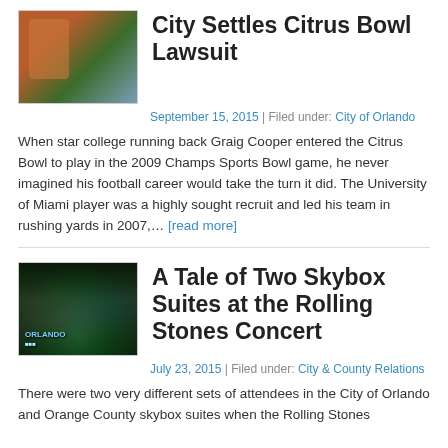[Figure (photo): Football player action photo with stadium/building background]
City Settles Citrus Bowl Lawsuit
September 15, 2015 | Filed under: City of Orlando
When star college running back Graig Cooper entered the Citrus Bowl to play in the 2009 Champs Sports Bowl game, he never imagined his football career would take the turn it did. The University of Miami player was a highly sought recruit and led his team in rushing yards in 2007,… [read more]
[Figure (photo): Orlando event venue interior with green concert lights and signage reading ORLANDO]
A Tale of Two Skybox Suites at the Rolling Stones Concert
July 23, 2015 | Filed under: City & County Relations
There were two very different sets of attendees in the City of Orlando and Orange County skybox suites when the Rolling Stones